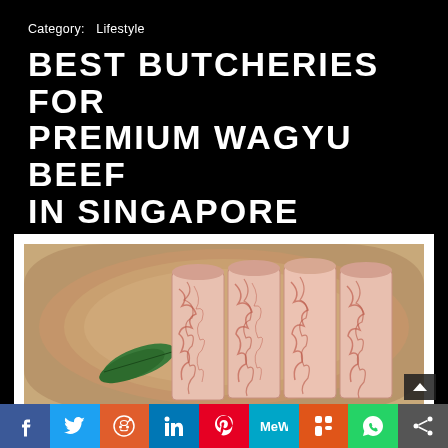Category:  Lifestyle
BEST BUTCHERIES FOR PREMIUM WAGYU BEEF IN SINGAPORE
POSTED ON 19 AUGUST 2022   BY DIREZIONE
[Figure (photo): Sliced wagyu beef with heavy marbling arranged on a wooden board with a green leaf garnish]
Social share bar: Facebook, Twitter, Reddit, LinkedIn, Pinterest, MeWe, Mix, WhatsApp, Share